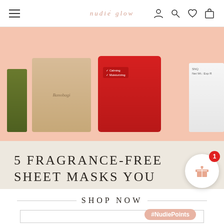NUDIE GLOW
[Figure (photo): Sheet mask product images on a pink/salmon background: olive green box, beige mask packet, red packet, white product on right edge]
5 FRAGRANCE-FREE SHEET MASKS YOU HAVE TO TRY
SHOP NOW
#NudiePoints